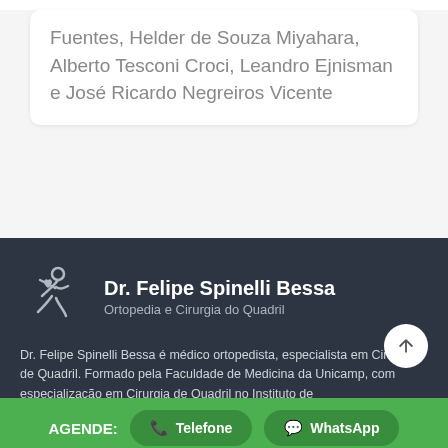Fuentes, Helder de Souza Miyahara, Alberto Tesconi Croci, Leandro Ejnisman e José Ricardo Negreiros Vicente
[Figure (logo): Dr. Felipe Spinelli Bessa logo with running figure icon. Text: Dr. Felipe Spinelli Bessa / Ortopedia e Cirurgia do Quadril]
Dr. Felipe Spinelli Bessa é médico ortopedista, especialista em Cirurgia de Quadril. Formado pela Faculdade de Medicina da Unicamp, com especialização em Cirurgia de Quadril no Instituto de
AGENDE:   Telefone   WhatsApp